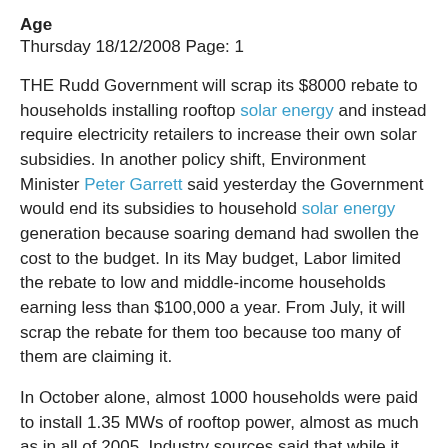Age
Thursday 18/12/2008 Page: 1
THE Rudd Government will scrap its $8000 rebate to households installing rooftop solar energy and instead require electricity retailers to increase their own solar subsidies. In another policy shift, Environment Minister Peter Garrett said yesterday the Government would end its subsidies to household solar energy generation because soaring demand had swollen the cost to the budget. In its May budget, Labor limited the rebate to low and middle-income households earning less than $100,000 a year. From July, it will scrap the rebate for them too because too many of them are claiming it.
In October alone, almost 1000 households were paid to install 1.35 MWs of rooftop power, almost as much as in all of 2005. Industry sources said that while it cost about $12,500 to buy and install a typical 1kW system, bulk schemes organised by local councils had cut the net cost to households to as little as $1500 to $2000, after deducting the $8000 rebate and subsidies of about $1000 from electricity